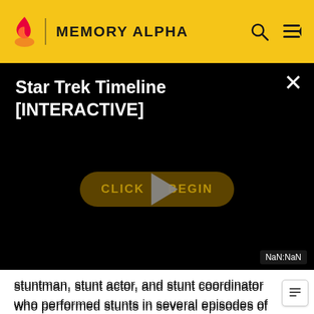MEMORY ALPHA
[Figure (screenshot): Video player showing 'Star Trek Timeline [INTERACTIVE]' with a black background, a golden 'CLICK TO BEGIN' button with a play triangle overlay, close button (×) in top right, and NaN:NaN timestamp label in bottom right.]
stuntman, stunt actor, and stunt coordinator who performed stunts in several episodes of Star Trek: Deep Space Nine, Star Trek: Voyager, and Star Trek: Enterprise. He also worked as an additional fight choreographer on several locations and received no on-screen credit for all